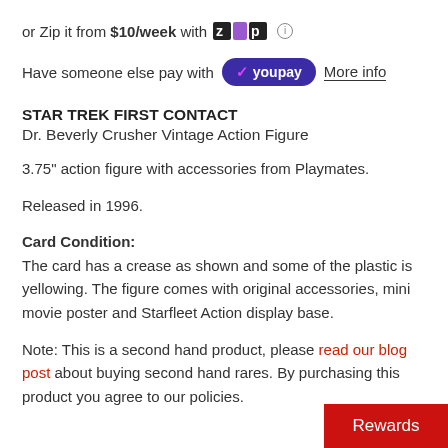or Zip it from $10/week with [Zip logo] ⓘ
Have someone else pay with [YouPay button] More info
STAR TREK FIRST CONTACT
Dr. Beverly Crusher Vintage Action Figure
3.75" action figure with accessories from Playmates.
Released in 1996.
Card Condition: The card has a crease as shown and some of the plastic is yellowing. The figure comes with original accessories, mini movie poster and Starfleet Action display base.
Note: This is a second hand product, please read our blog post about buying second hand rares. By purchasing this product you agree to our policies.